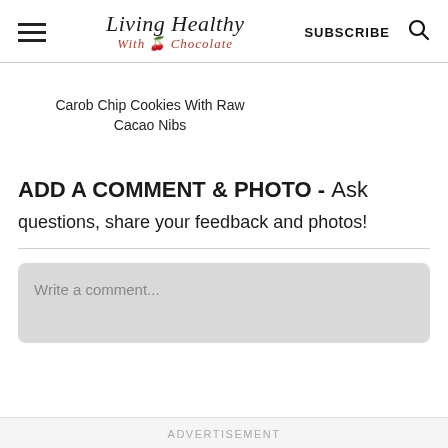Living Healthy With Chocolate | SUBSCRIBE
Carob Chip Cookies With Raw Cacao Nibs
ADD A COMMENT & PHOTO - Ask questions, share your feedback and photos!
Write a comment...
ADVERTISEMENT